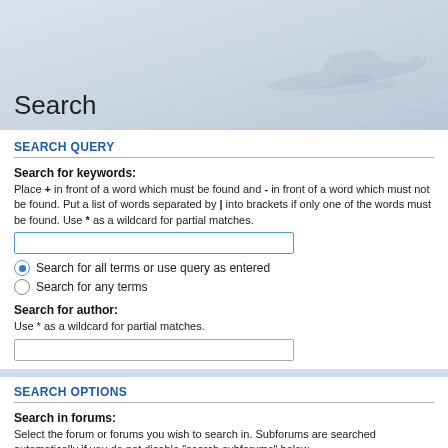[Figure (illustration): Light blue-gray gradient banner with faint aircraft/glider silhouette watermark in lower right]
Search
SEARCH QUERY
Search for keywords:
Place + in front of a word which must be found and - in front of a word which must not be found. Put a list of words separated by | into brackets if only one of the words must be found. Use * as a wildcard for partial matches.
Search for all terms or use query as entered
Search for any terms
Search for author:
Use * as a wildcard for partial matches.
SEARCH OPTIONS
Search in forums:
Select the forum or forums you wish to search in. Subforums are searched automatically if you do not disable "search subforums" below.
Getting Started
Getting Started